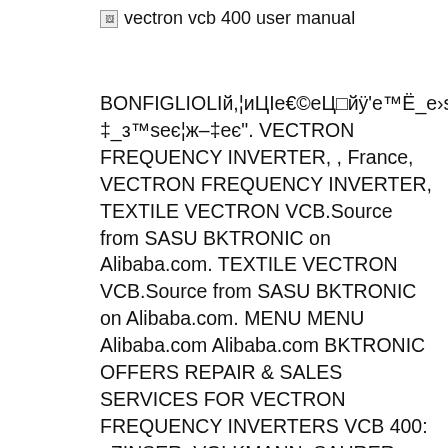vectron vcb 400 user manual
BONFIGLIOLIй,¦иЦIе€©еЦ□йÿ'е™Ё_е›sж–‡_з™sеє¦ж–‡еє". VECTRON FREQUENCY INVERTER, , France, VECTRON FREQUENCY INVERTER, TEXTILE VECTRON VCB.Source from SASU BKTRONIC on Alibaba.com. TEXTILE VECTRON VCB.Source from SASU BKTRONIC on Alibaba.com. MENU MENU Alibaba.com Alibaba.com BKTRONIC OFFERS REPAIR & SALES SERVICES FOR VECTRON FREQUENCY INVERTERS VCB 400: , ZINSER, VOLKMANN, SAURER ..., Bonfiglioli Vectron Vcb 400-034 Frequency Converter. AU $3,185.43. eBay Premium Service. Free postage. From Germany. or